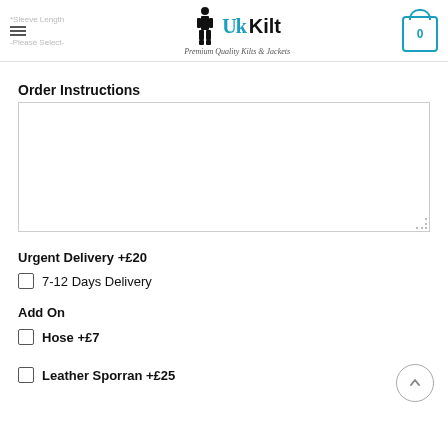UK Kilt - Premium Quality Kilts & Jackets
Order Instructions
Urgent Delivery +£20
7-12 Days Delivery
Add On
Hose +£7
Leather Sporran +£25